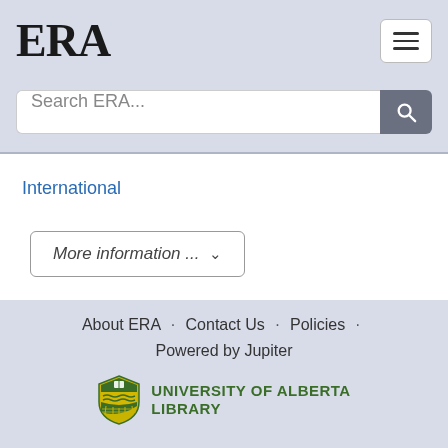ERA
Search ERA...
International
More information ...
About ERA · Contact Us · Policies · Powered by Jupiter · UNIVERSITY OF ALBERTA LIBRARY